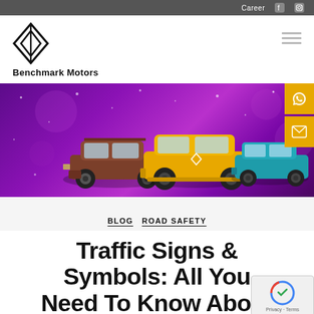Career
[Figure (logo): Renault diamond logo with text Benchmark Motors]
[Figure (photo): Banner with purple background showing three Renault cars: a brown SUV (Duster), yellow SUV (Triber), and teal small car (Kwid)]
BLOG  ROAD SAFETY
Traffic Signs & Symbols: All You Need To Know About